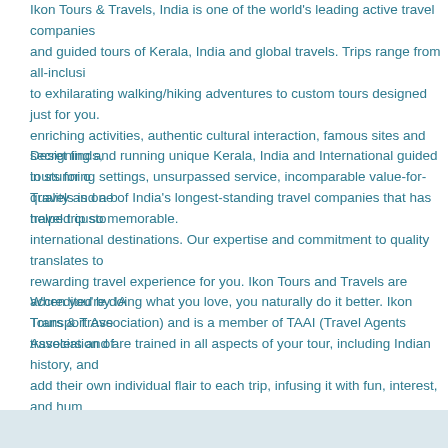Ikon Tours & Travels, India is one of the world's leading active travel companies and guided tours of Kerala, India and global travels. Trips range from all-inclusive to exhilarating walking/hiking adventures to custom tours designed just for you. enriching activities, authentic cultural interaction, famous sites and secret finds, in stunning settings, unsurpassed service, incomparable value-for-quality and a travel trip so memorable.
Designing and running unique Kerala, India and International guided tours for o... Travels is one of India's longest-standing travel companies that has helped custo... international destinations. Our expertise and commitment to quality translates to rewarding travel experience for you. Ikon Tours and Travels are accredited by IA Transport Association) and is a member of TAAI (Travel Agents Association of
When you're doing what you love, you naturally do it better. Ikon Tours & Trave travelers and are trained in all aspects of your tour, including Indian history, and add their own individual flair to each trip, infusing it with fun, interest, and hum